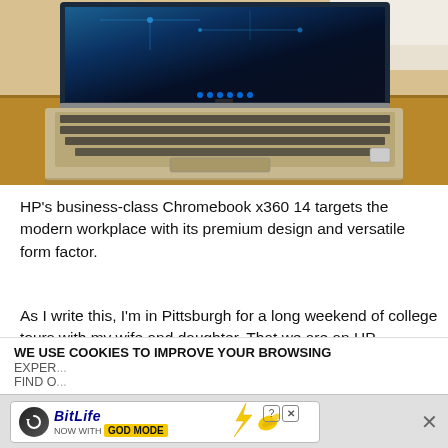[Figure (photo): HP Chromebook x360 14 laptop open on a wooden desk/table, showing a colorful blue screen with digital pattern. The laptop has a silver/gold aluminum body with black keyboard.]
HP's business-class Chromebook x360 14 targets the modern workplace with its premium design and versatile form factor.
As I write this, I'm in Pittsburgh for a long weekend of college tours with my wife and daughter. That we are an HP household is on display: My daughter uses an HP Envy 13, my wife uses an HP Spectre 13, and I've
WE USE COOKIES TO IMPROVE YOUR BROWSING
EXPER...
Find o...
[Figure (screenshot): BitLife ad banner: circular icon with arrow, BitLife logo in blue italic text, 'NOW WITH GOD MODE' text in yellow box, hand pointing graphic, help and close icons]